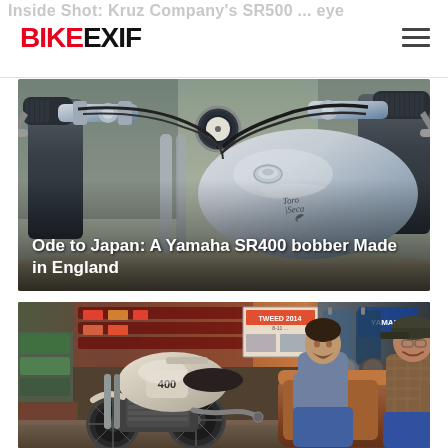BIKEEXIF
[Figure (photo): Close-up photo of a custom Yamaha SR400 bobber motorcycle showing handlebars, controls, and fuel tank with 'Ode to Japan: A Yamaha SR400 bobber Made in England' caption overlay]
[Figure (photo): Photo showing a white custom motorcycle in a garage/shop setting with two men sitting on a brown leather sofa, shelving with helmets visible in background, Tweed 2014 poster visible]